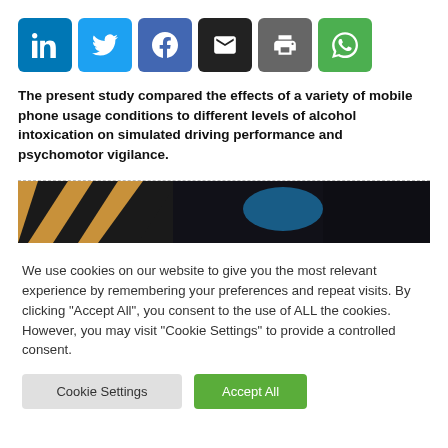[Figure (other): Social sharing buttons: LinkedIn (blue), Twitter (light blue), Facebook (dark blue), Email (black), Print (gray), WhatsApp (green)]
The present study compared the effects of a variety of mobile phone usage conditions to different levels of alcohol intoxication on simulated driving performance and psychomotor vigilance.
[Figure (photo): Partial article image showing what appears to be a driving simulator or road scene with orange/tan diagonal lines on the left and a dark background with blue element in the center.]
We use cookies on our website to give you the most relevant experience by remembering your preferences and repeat visits. By clicking "Accept All", you consent to the use of ALL the cookies. However, you may visit "Cookie Settings" to provide a controlled consent.
Cookie Settings | Accept All